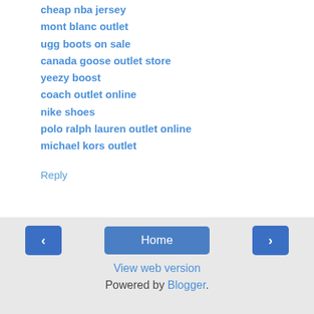cheap nba jersey
mont blanc outlet
ugg boots on sale
canada goose outlet store
yeezy boost
coach outlet online
nike shoes
polo ralph lauren outlet online
michael kors outlet
Reply
‹   Home   ›
View web version
Powered by Blogger.